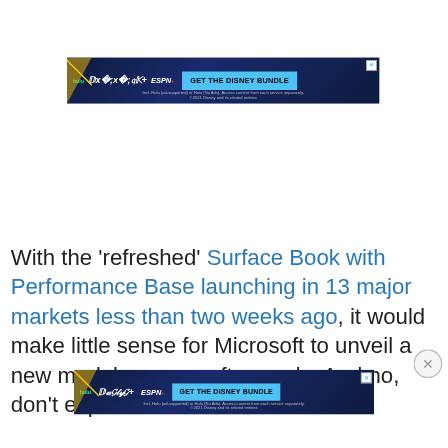[Figure (screenshot): Disney Bundle advertisement banner with hulu, Disney+, ESPN+ logos and 'GET THE DISNEY BUNDLE' CTA button on dark blue background. Includes close button (X) and fine print text.]
With the 'refreshed' Surface Book with Performance Base launching in 13 major markets less than two weeks ago, it would make little sense for Microsoft to unveil a new model so soon afterwards. And no, don't expect th
[Figure (screenshot): Disney Bundle advertisement banner with hulu, Disney+, ESPN+ logos and 'GET THE DISNEY BUNDLE' CTA button on dark blue background. Includes close button (X) and fine print text.]